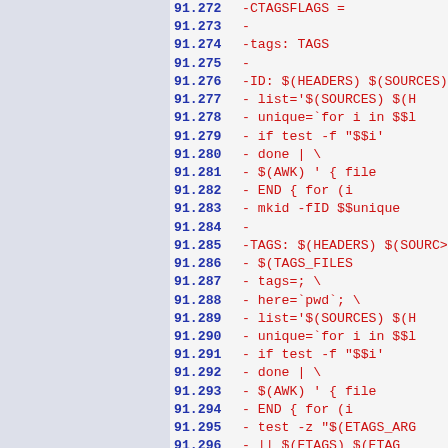91.272 -CTAGSFLAGS =
91.273 -
91.274 -tags: TAGS
91.275 -
91.276 -ID: $(HEADERS) $(SOURCES)
91.277 -         list='$(SOURCES) $(H
91.278 -         unique=`for i in $$l
91.279 -             if test -f "$$i'
91.280 -         done | \
91.281 -         $(AWK) '    { file
91.282 -             END { for (i
91.283 -         mkid -fID $$unique
91.284 -
91.285 -TAGS:  $(HEADERS) $(SOURCI
91.286 -                 $(TAGS_FILES
91.287 -         tags=; \
91.288 -         here=`pwd`; \
91.289 -         list='$(SOURCES) $(H
91.290 -         unique=`for i in $$l
91.291 -             if test -f "$$i'
91.292 -         done | \
91.293 -         $(AWK) '    { file
91.294 -             END { for (i
91.295 -         test -z "$(ETAGS_ARG
91.296 -         || $(ETAGS) $(ETAC
91.297 -             $$tags $$unique
91.298 -
91.299 -ctags: CTAGS
91.300 -CTAGS:  $(HEADERS) $(SOURC
91.301 -         $(TAGS_FI